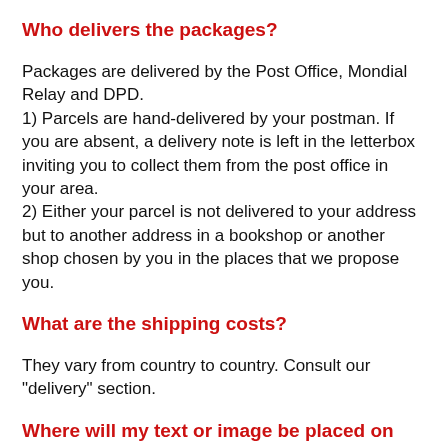Who delivers the packages?
Packages are delivered by the Post Office, Mondial Relay and DPD.
1) Parcels are hand-delivered by your postman. If you are absent, a delivery note is left in the letterbox inviting you to collect them from the post office in your area.
2) Either your parcel is not delivered to your address but to another address in a bookshop or another shop chosen by you in the places that we propose you.
What are the shipping costs?
They vary from country to country. Consult our "delivery" section.
Where will my text or image be placed on my product?
You choose your design, your text, your photo, and these will be arranged as on the photos on the site or according